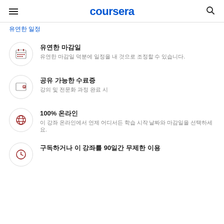coursera
유연한 일정
유연한 마감일 — 유연한 마감일 덕분에 일정을 내 것으로 조정할 수 있습니다.
공유 가능한 수료증 — 강의 및 전문화 과정 완료 시
100% 온라인 — 이 강좌 온라인에서 언제 어디서든 학습 시작 날짜와 마감일을 선택하세요.
구독하거나 이 강좌를 90일간 무제한 이용